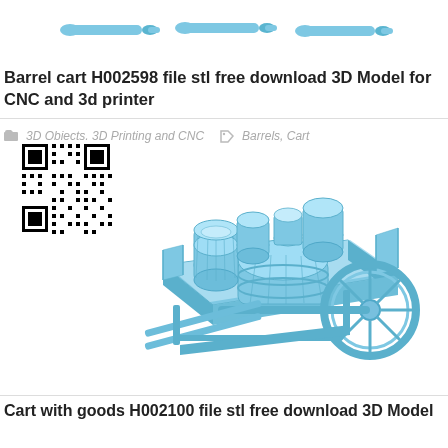[Figure (photo): Top strip showing three blue 3D printed cannon/tool shapes on white background]
Barrel cart H002598 file stl free download 3D Model for CNC and 3d printer
3D Objects, 3D Printing and CNC   Barrels, Cart
[Figure (other): QR code black and white square barcode]
[Figure (photo): Blue 3D printed model of a barrel cart with multiple barrels loaded on a wooden cart with two large wheels and two pull shafts]
Cart with goods H002100 file stl free download 3D Model